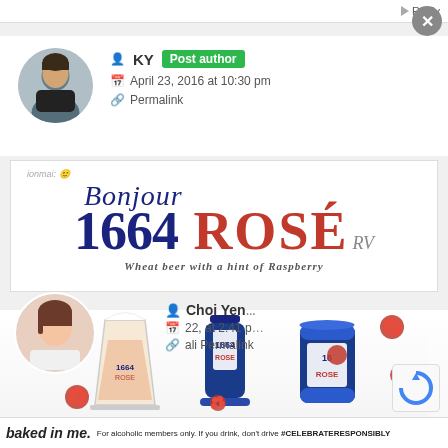Reply
KY Post author
April 23, 2016 at 10:30 pm
Permalink
[Figure (photo): 1664 Rosé wheat beer advertisement banner with 'Bonjour 1664 ROSÉ' text and tagline 'Wheat beer with a hint of Raspberry']
Choi Yen
22, at 2:41 pm
ali Permalink
[Figure (photo): 1664 Rosé product photo showing glass, bottle and can with raspberries]
baked in me. For alcoholic members only. If you drink, don't drive #CELEBRATERESPONSIBLY